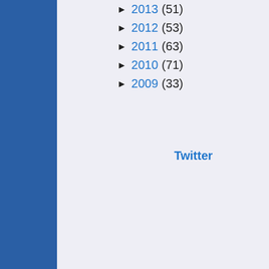► 2013 (51)
► 2012 (53)
► 2011 (63)
► 2010 (71)
► 2009 (33)
Twitter
[Figure (illustration): Black and white illustration/drawing on right side of the page, appears to show a figure, partially cropped. Dark red vertical bar on far right edge.]